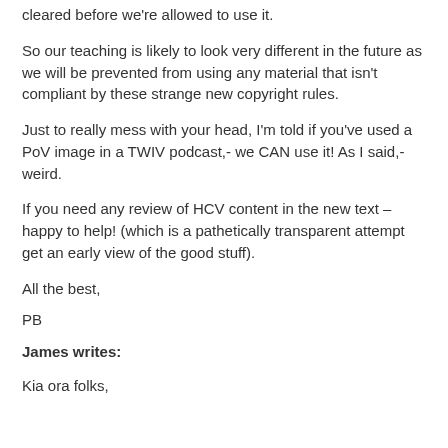cleared before we're allowed to use it.
So our teaching is likely to look very different in the future as we will be prevented from using any material that isn't compliant by these strange new copyright rules.
Just to really mess with your head, I'm told if you've used a PoV image in a TWIV podcast,- we CAN use it! As I said,- weird.
If you need any review of HCV content in the new text – happy to help! (which is a pathetically transparent attempt get an early view of the good stuff).
All the best,
PB
James writes:
Kia ora folks,